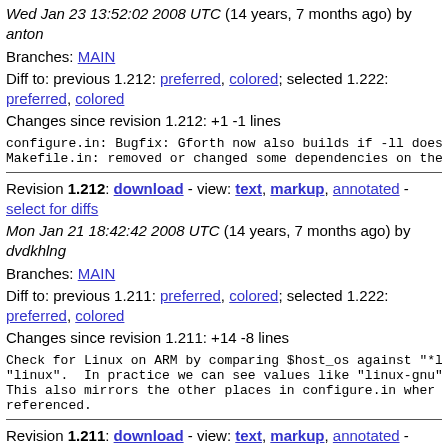Wed Jan 23 13:52:02 2008 UTC (14 years, 7 months ago) by anton
Branches: MAIN
Diff to: previous 1.212: preferred, colored; selected 1.222: preferred, colored
Changes since revision 1.212: +1 -1 lines
configure.in: Bugfix: Gforth now also builds if -ll does
Makefile.in: removed or changed some dependencies on the
Revision 1.212: download - view: text, markup, annotated - select for diffs
Mon Jan 21 18:42:42 2008 UTC (14 years, 7 months ago) by dvdkhlng
Branches: MAIN
Diff to: previous 1.211: preferred, colored; selected 1.222: preferred, colored
Changes since revision 1.211: +14 -8 lines
Check for Linux on ARM by comparing $host_os against "*l
"linux".  In practice we can see values like "linux-gnu",
This also mirrors the other places in configure.in wher S
referenced.
Revision 1.211: download - view: text, markup, annotated - select for diffs
Mon Jan 21 13:21:57 2008 UTC (14 years, 7 months ago) by